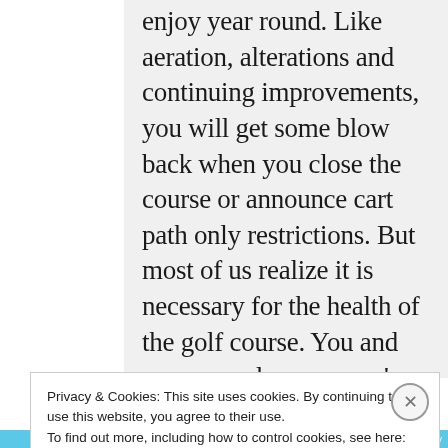enjoy year round. Like aeration, alterations and continuing improvements, you will get some blow back when you close the course or announce cart path only restrictions. But most of us realize it is necessary for the health of the golf course. You and your men do a yeoman's job to keep the place in
Privacy & Cookies: This site uses cookies. By continuing to use this website, you agree to their use.
To find out more, including how to control cookies, see here: Cookie Policy
Close and accept